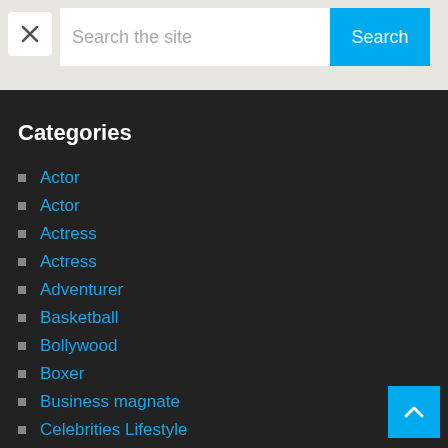[Figure (screenshot): Website search bar with an X close button on the left, a text input field reading 'Search the site', and a blue Search button on the right]
Categories
Actor
Actor
Actress
Actress
Adventurer
Basketball
Bollywood
Boxer
Business magnate
Celebrities Lifestyle